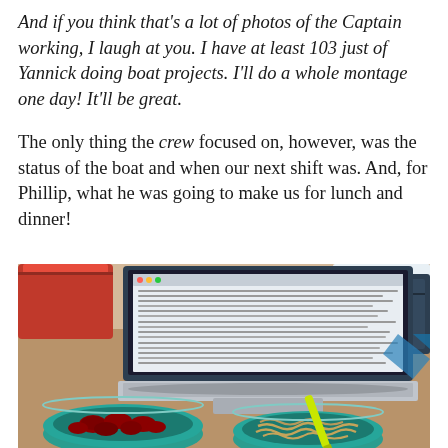And if you think that's a lot of photos of the Captain working, I laugh at you.  I have at least 103 just of Yannick doing boat projects.  I'll do a whole montage one day!  It'll be great.
The only thing the crew focused on, however, was the status of the boat and when our next shift was.  And, for Phillip, what he was going to make us for lunch and dinner!
[Figure (photo): A laptop showing a Word document with text on a wooden table, with two teal/turquoise bowls — one with dark red/maroon olives or similar food, one with noodles/pasta — and a yellow-green pen. Red storage bins and a dark bag visible in the background.]